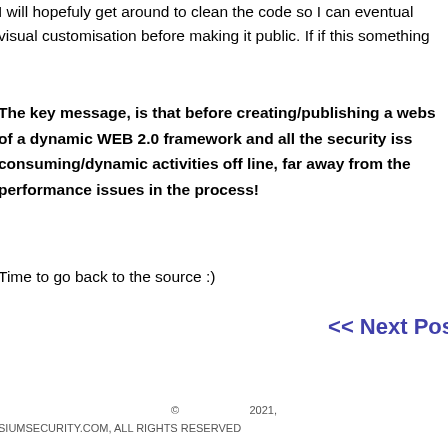I will hopefuly get around to clean the code so I can eventual
visual customisation before making it public. If if this something
The key message, is that before creating/publishing a webs of a dynamic WEB 2.0 framework and all the security iss consuming/dynamic activities off line, far away from the performance issues in the process!
Time to go back to the source :)
<< Next Pos
© 2021,
SIUMSECURITY.COM, ALL RIGHTS RESERVED